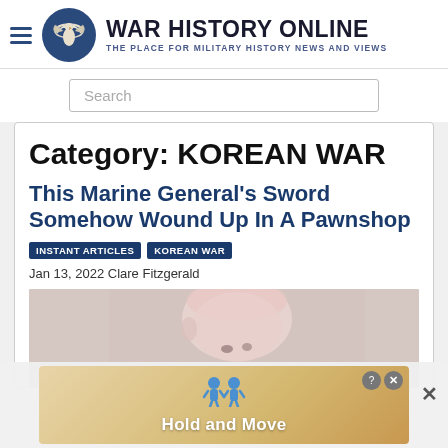WAR HISTORY ONLINE — THE PLACE FOR MILITARY HISTORY NEWS AND VIEWS
Search
Category: KOREAN WAR
This Marine General's Sword Somehow Wound Up In A Pawnshop
INSTANT ARTICLES
KOREAN WAR
Jan 13, 2022 Clare Fitzgerald
[Figure (photo): Photo of a military figure, partially visible head shot]
[Figure (infographic): Advertisement banner with cartoon figures and text 'Hold and Move']